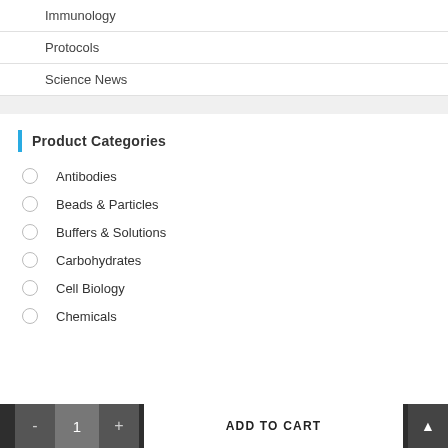Immunology
Protocols
Science News
Product Categories
Antibodies
Beads & Particles
Buffers & Solutions
Carbohydrates
Cell Biology
Chemicals
- 1 + ADD TO CART ▲